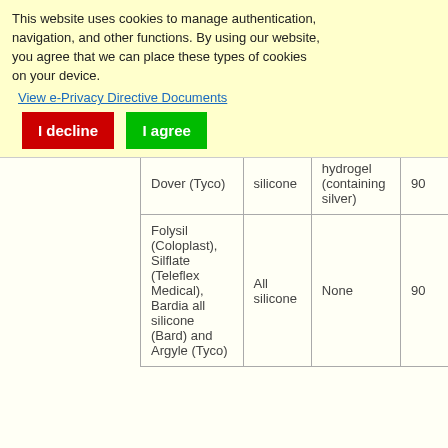This website uses cookies to manage authentication, navigation, and other functions. By using our website, you agree that we can place these types of cookies on your device. View e-Privacy Directive Documents
| Dover (Tyco) | silicone | hydrogel (containing silver) | 90 |
| Folysil (Coloplast), Silflate (Teleflex Medical), Bardia all silicone (Bard) and Argyle (Tyco) | All silicone | None | 90 |
The perceived benefits of silver in in
The ability of silver to kill bacteria has long been estab agent in humans for centuries, particularly in the area o Williams 2007). This has included the use of silver su